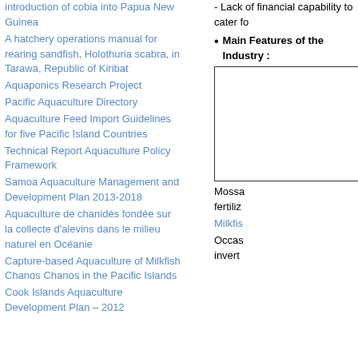introduction of cobia into Papua New Guinea
A hatchery operations manual for rearing sandfish, Holothuria scabra, in Tarawa, Republic of Kiribat
Aquaponics Research Project
Pacific Aquaculture Directory
Aquaculture Feed Import Guidelines for five Pacific Island Countries
Technical Report Aquaculture Policy Framework
Samoa Aquaculture Management and Development Plan 2013-2018
Aquaculture de chanidés fondée sur la collecte d'alevins dans le milieu naturel en Océanie
Capture-based Aquaculture of Milkfish Chanos Chanos in the Pacific Islands
Cook Islands Aquaculture Development Plan – 2012
- Lack of financial capability to cater fo
Main Features of the Industry :
[Figure (photo): Blank white image box with black border]
Mossa fertiliz
Milkfis
Occas invert